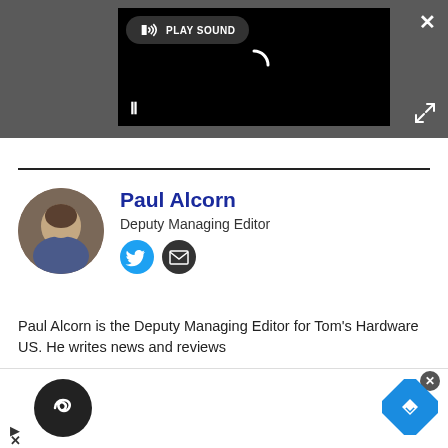[Figure (screenshot): Video player with black background showing a loading spinner and pause button, with a 'PLAY SOUND' button overlay at top. Close (X) and expand arrows visible on dark grey background.]
Paul Alcorn
Deputy Managing Editor
[Figure (illustration): Circular avatar photo of Paul Alcorn, a middle-aged man.]
[Figure (logo): Twitter icon (blue circle with bird) and email icon (dark circle with envelope)]
Paul Alcorn is the Deputy Managing Editor for Tom's Hardware US. He writes news and reviews
[Figure (screenshot): Advertisement bar at bottom with dark circular logo containing infinity-like symbol, play arrow, close X button, and blue diamond navigation icon.]